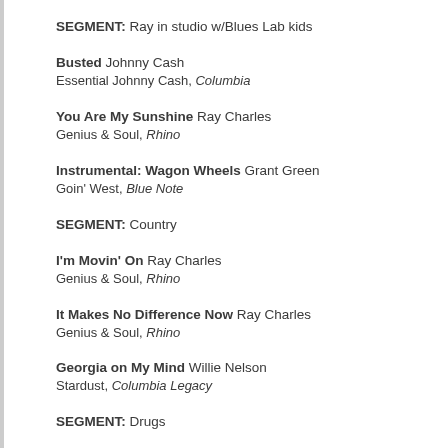SEGMENT: Ray in studio w/Blues Lab kids
Busted Johnny Cash
Essential Johnny Cash, Columbia
You Are My Sunshine Ray Charles
Genius & Soul, Rhino
Instrumental: Wagon Wheels Grant Green
Goin' West, Blue Note
SEGMENT: Country
I'm Movin' On Ray Charles
Genius & Soul, Rhino
It Makes No Difference Now Ray Charles
Genius & Soul, Rhino
Georgia on My Mind Willie Nelson
Stardust, Columbia Legacy
SEGMENT: Drugs
SEGMENT: Race